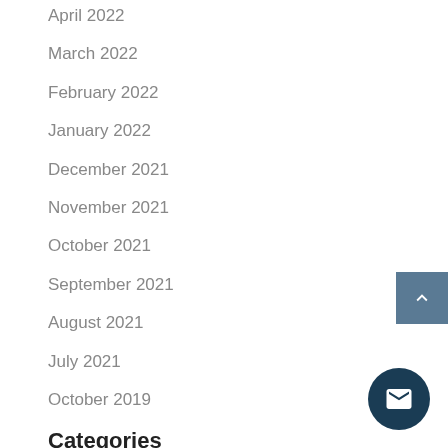April 2022
March 2022
February 2022
January 2022
December 2021
November 2021
October 2021
September 2021
August 2021
July 2021
October 2019
Categories
Uncategorized